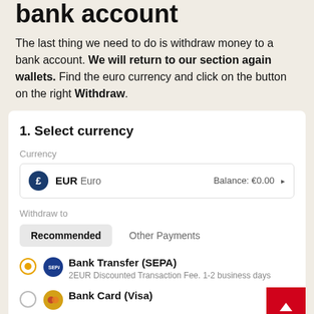bank account
The last thing we need to do is withdraw money to a bank account. We will return to our section again wallets. Find the euro currency and click on the button on the right Withdraw.
1. Select currency
Currency
EUR Euro  Balance: €0.00
Withdraw to
Recommended   Other Payments
Bank Transfer (SEPA)
2EUR Discounted Transaction Fee. 1-2 business days
Bank Card (Visa)